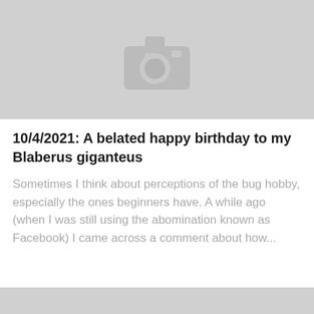[Figure (photo): Placeholder image with a camera icon on a light gray background]
10/4/2021: A belated happy birthday to my Blaberus giganteus
Sometimes I think about perceptions of the bug hobby, especially the ones beginners have. A while ago (when I was still using the abomination known as Facebook) I came across a comment about how...
[Figure (photo): Partial placeholder image at the bottom of the page]